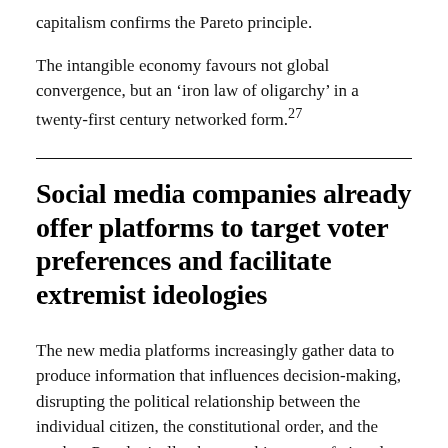capitalism confirms the Pareto principle.
The intangible economy favours not global convergence, but an ‘iron law of oligarchy’ in a twenty-first century networked form.27
Social media companies already offer platforms to target voter preferences and facilitate extremist ideologies
The new media platforms increasingly gather data to produce information that influences decision-making, disrupting the political relationship between the individual citizen, the constitutional order, and the market. Paradoxically, the anarchic space of virtual freedom offers